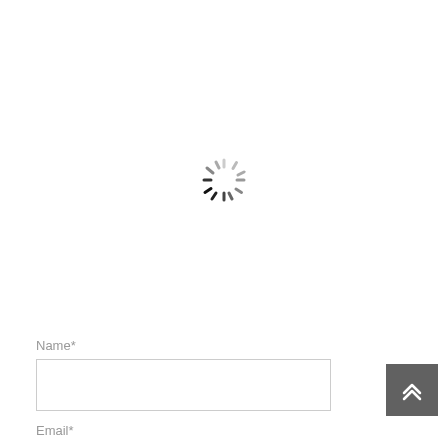[Figure (other): Spinning loading indicator (circular spinner) centered on the page, with dark tick marks at lower positions indicating a loading state.]
Name*
[Figure (other): Empty text input field for Name]
Email*
[Figure (other): Scroll-to-top button with double chevron up arrows, dark grey background, positioned in bottom right corner]